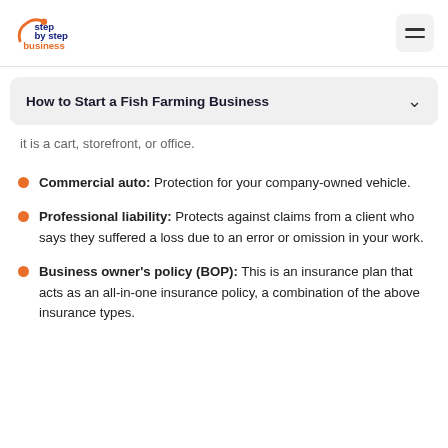step by step business — navigation header
How to Start a Fish Farming Business
it is a cart, storefront, or office.
Commercial auto: Protection for your company-owned vehicle.
Professional liability: Protects against claims from a client who says they suffered a loss due to an error or omission in your work.
Business owner's policy (BOP): This is an insurance plan that acts as an all-in-one insurance policy, a combination of the above insurance types.